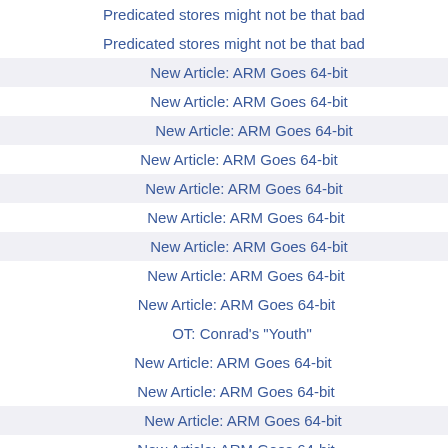Predicated stores might not be that bad
Predicated stores might not be that bad
New Article: ARM Goes 64-bit
New Article: ARM Goes 64-bit
New Article: ARM Goes 64-bit
New Article: ARM Goes 64-bit
New Article: ARM Goes 64-bit
New Article: ARM Goes 64-bit
New Article: ARM Goes 64-bit
New Article: ARM Goes 64-bit
New Article: ARM Goes 64-bit
OT: Conrad's "Youth"
New Article: ARM Goes 64-bit
New Article: ARM Goes 64-bit
New Article: ARM Goes 64-bit
New Article: ARM Goes 64-bit
New Article: ARM Goes 64-bit
Microarchitecting a counter register
New Article: ARM Goes 64-bit
New Article: ARM Goes 64-bit
New Article: ARM Goes 64-bit
New Article: ARM Goes 64-bit
New Article: ARM Goes 64-bit